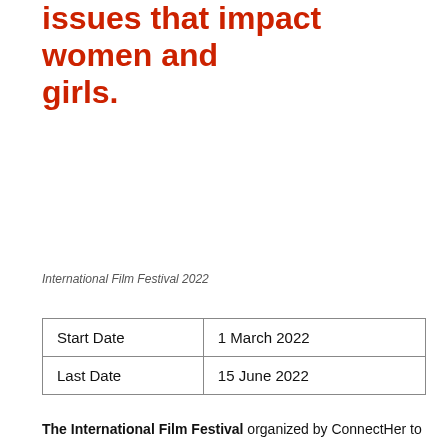issues that impact women and girls.
International Film Festival 2022
| Start Date | 1 March 2022 |
| Last Date | 15 June 2022 |
The International Film Festival organized by ConnectHer to